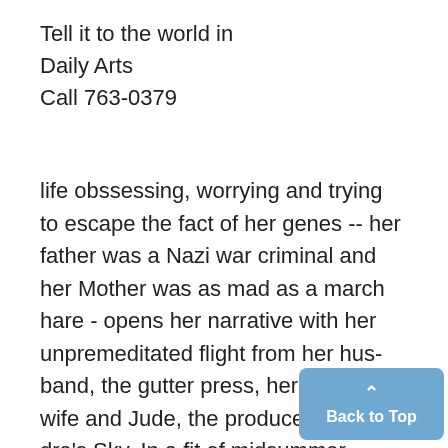Tell it to the world in
Daily Arts
Call 763-0379
life obssessing, worrying and trying to escape the fact of her genes -- her father was a Nazi war criminal and her Mother was as mad as a march hare - opens her narrative with her unpremeditated flight from her husband, the gutter press, her lover's wife and Jude, the producer of Sandra's Sky. In a fit of midsummer madness, or so it seems to her emi-